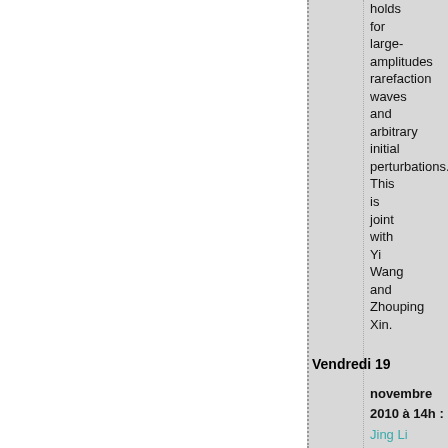holds for large-amplitudes rarefaction waves and arbitrary initial perturbations. This is joint with Yi Wang and Zhouping Xin.
Vendredi 19
novembre
2010 à 14h :
Jing Li
(Institute of